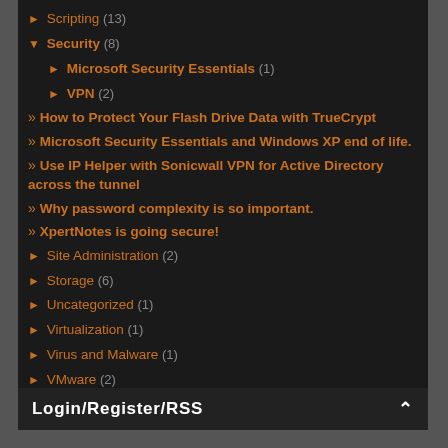► Scripting (13)
▼ Security (8)
► Microsoft Security Essentials (1)
► VPN (2)
» How to Protect Your Flash Drive Data with TrueCrypt
» Microsoft Security Essentials and Windows XP end of life.
» Use IP Helper with Sonicwall VPN for Active Directory across the tunnel
» Why password complexity is so important.
» XpertNotes is going secure!
► Site Administration (2)
► Storage (6)
► Uncategorized (1)
► Virtualization (1)
► Virus and Malware (1)
► VMware (2)
Login/Register/RSS